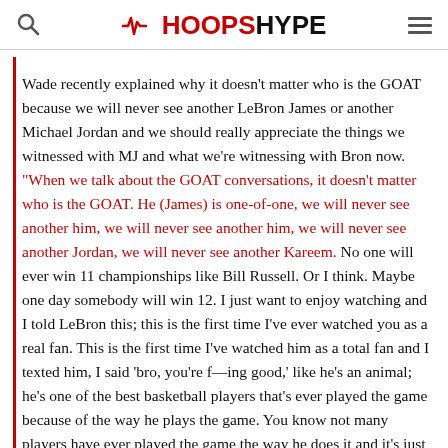HoopsHype
Wade recently explained why it doesn't matter who is the GOAT because we will never see another LeBron James or another Michael Jordan and we should really appreciate the things we witnessed with MJ and what we're witnessing with Bron now. "When we talk about the GOAT conversations, it doesn't matter who is the GOAT. He (James) is one-of-one, we will never see another him, we will never see another him, we will never see another Jordan, we will never see another Kareem. No one will ever win 11 championships like Bill Russell. Or I think. Maybe one day somebody will win 12. I just want to enjoy watching and I told LeBron this; this is the first time I've ever watched you as a real fan. This is the first time I've watched him as a total fan and I texted him, I said 'bro, you're f—ing good,' like he's an animal; he's one of the best basketball players that's ever played the game because of the way he plays the game. You know not many players have ever played the game the way he does it and it's just special to